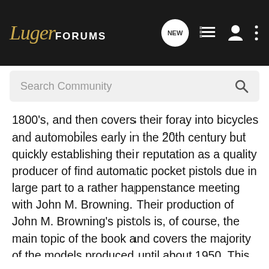LugerFORUMS
Search Community
1800's, and then covers their foray into bicycles and automobiles early in the 20th century but quickly establishing their reputation as a quality producer of find automatic pocket pistols due in large part to a rather happenstance meeting with John M. Browning. Their production of John M. Browning's pistols is, of course, the main topic of the book and covers the majority of the models produced until about 1950. This history includes several old pictures of the plant. The history is followed by a short narrative of John M. Browning and covers the relationship that was established between FN and John M. Browning. The importance of this relationship is stressed since it was Mr. Browning's pistols that saved the company and made it a firearms company that it is today still a producer of some of the finest firearms in the world.
...